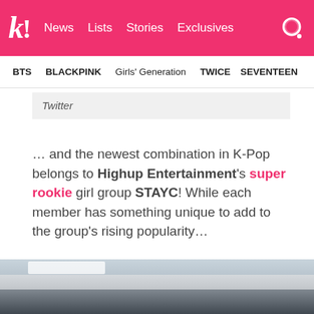k! News Lists Stories Exclusives
BTS BLACKPINK Girls' Generation TWICE SEVENTEEN
Twitter
… and the newest combination in K-Pop belongs to Highup Entertainment's super rookie girl group STAYC! While each member has something unique to add to the group's rising popularity…
[Figure (photo): Group photo of STAYC members standing in an indoor room with white walls and ceiling lights]